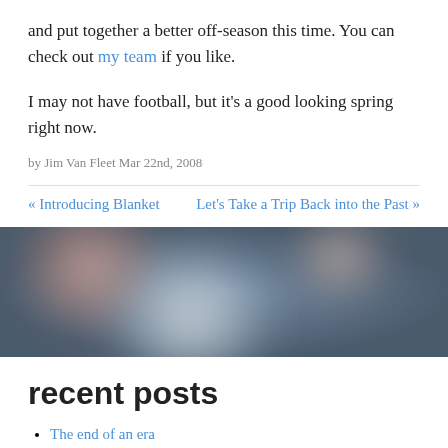and put together a better off-season this time. You can check out my team if you like.
I may not have football, but it's a good looking spring right now.
by Jim Van Fleet Mar 22nd, 2008
« Introducing Blanket   Let's Take a Trip Back into the Past »
[Figure (photo): Blurred bokeh background image with soft circular light shapes in tones of pink, white, and gray-blue.]
recent posts
The end of an era
Deferred Work Using Sidekiq
Facebook OAuth using OmniAuth and Rails 4